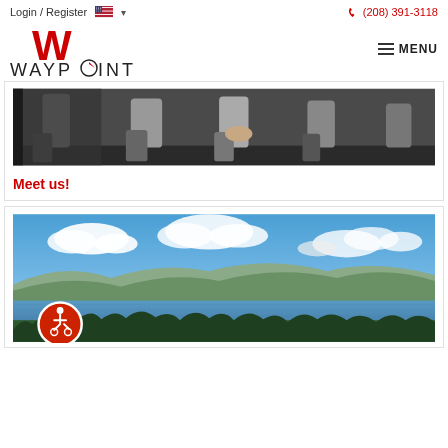Login / Register  🇺🇸 ▾       📞 (208) 391-3118
[Figure (logo): Waypoint Real Estate Group logo with large red W above WAYPOINT text and RE___GROUP below]
≡ MENU
[Figure (photo): Photo of people in business attire seated, showing lower bodies/legs from waist down]
Meet us!
[Figure (photo): Aerial panoramic photo of a lake surrounded by mountains and forest under a blue sky with white clouds]